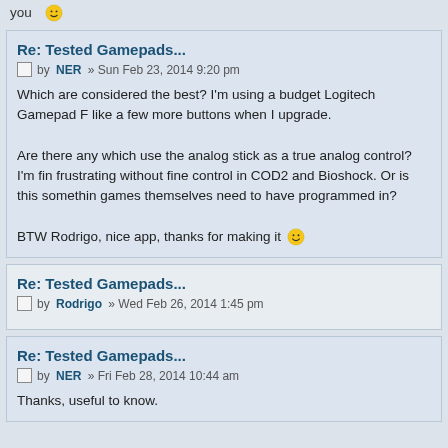you 🙂
Re: Tested Gamepads...
by NER » Sun Feb 23, 2014 9:20 pm
Which are considered the best? I'm using a budget Logitech Gamepad F... like a few more buttons when I upgrade.

Are there any which use the analog stick as a true analog control? I'm fin... frustrating without fine control in COD2 and Bioshock. Or is this somethin... games themselves need to have programmed in?

BTW Rodrigo, nice app, thanks for making it 😀
Re: Tested Gamepads...
by Rodrigo » Wed Feb 26, 2014 1:45 pm
Re: Tested Gamepads...
by NER » Fri Feb 28, 2014 10:44 am
Thanks, useful to know.